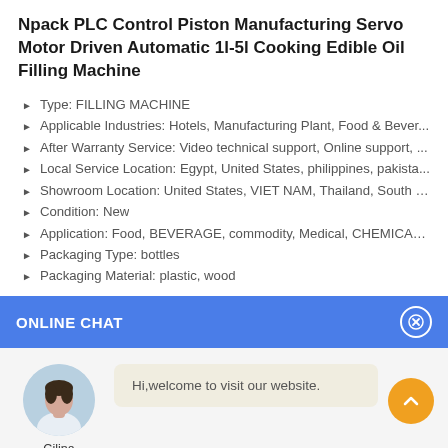Npack PLC Control Piston Manufacturing Servo Motor Driven Automatic 1l-5l Cooking Edible Oil Filling Machine
Type: FILLING MACHINE
Applicable Industries: Hotels, Manufacturing Plant, Food & Bever...
After Warranty Service: Video technical support, Online support, ...
Local Service Location: Egypt, United States, philippines, pakista...
Showroom Location: United States, VIET NAM, Thailand, South K...
Condition: New
Application: Food, BEVERAGE, commodity, Medical, CHEMICAL, M...
Packaging Type: bottles
Packaging Material: plastic, wood
ONLINE CHAT
[Figure (illustration): Chat widget with avatar photo of a woman named Cilina, a welcome message bubble reading 'Hi,welcome to visit our website.', and an orange scroll-to-top button.]
Hi,welcome to visit our website.
Cilina